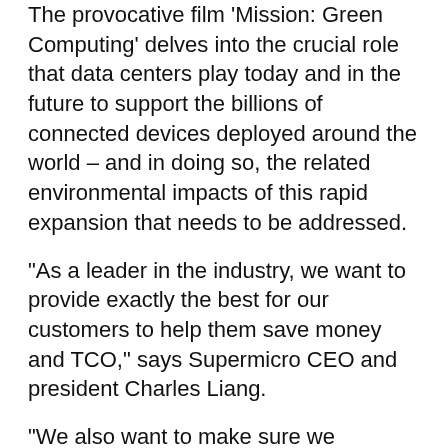The provocative film ‘Mission: Green Computing’ delves into the crucial role that data centers play today and in the future to support the billions of connected devices deployed around the world – and in doing so, the related environmental impacts of this rapid expansion that needs to be addressed.
"As a leader in the industry, we want to provide exactly the best for our customers to help them save money and TCO,” says Supermicro CEO and president Charles Liang.
“We also want to make sure we contribute to our environment, contribute to our only Mother Earth."
Greenhouse gas emissions, power consumption, and e-waste are among the main environmental impacts explored in the film with disturbing forecasts revealing what our world could be like in years to come following current trends.